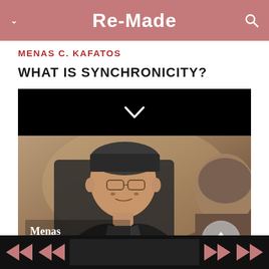Re-Made
MENAS C. KAFATOS
WHAT IS SYNCHRONICITY?
[Figure (screenshot): Video interview screenshot showing Menas Kafatos, an elderly man wearing glasses and a dark cap, in conversation. Lower-left overlay text reads 'Menas Kafatos' with subtitle 'Physicist, Chapman University'. A circular up-arrow button appears in the lower right of the video frame.]